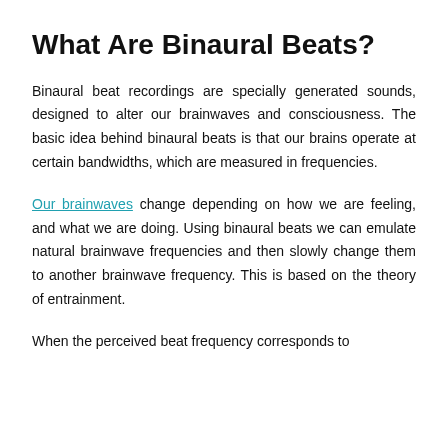What Are Binaural Beats?
Binaural beat recordings are specially generated sounds, designed to alter our brainwaves and consciousness. The basic idea behind binaural beats is that our brains operate at certain bandwidths, which are measured in frequencies.
Our brainwaves change depending on how we are feeling, and what we are doing. Using binaural beats we can emulate natural brainwave frequencies and then slowly change them to another brainwave frequency. This is based on the theory of entrainment.
When the perceived beat frequency corresponds to